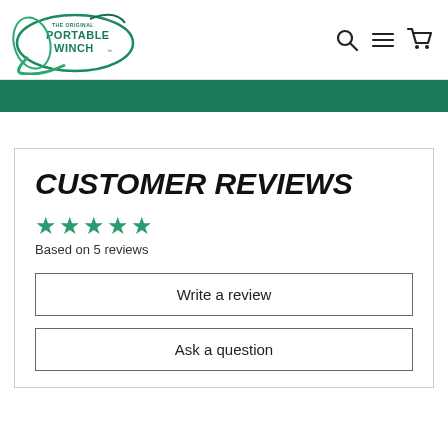[Figure (logo): The Original Portable Winch logo - oval shape with green lines and text]
[Figure (infographic): Navigation icons: search (magnifying glass), menu (hamburger lines), cart (shopping cart)]
CUSTOMER REVIEWS
★★★★★ Based on 5 reviews
Write a review
Ask a question